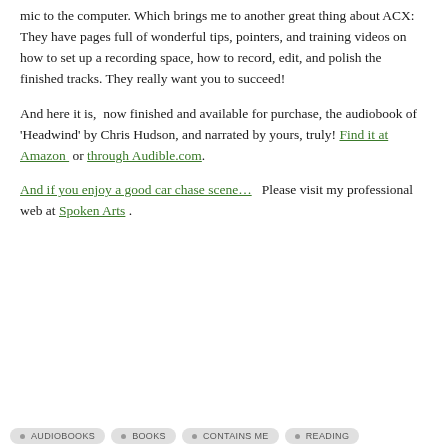mic to the computer. Which brings me to another great thing about ACX: They have pages full of wonderful tips, pointers, and training videos on how to set up a recording space, how to record, edit, and polish the finished tracks. They really want you to succeed!
And here it is,  now finished and available for purchase, the audiobook of 'Headwind' by Chris Hudson, and narrated by yours, truly! Find it at Amazon  or through Audible.com.
And if you enjoy a good car chase scene…   Please visit my professional web at Spoken Arts .
• AUDIOBOOKS  • BOOKS  • CONTAINS ME  • READING